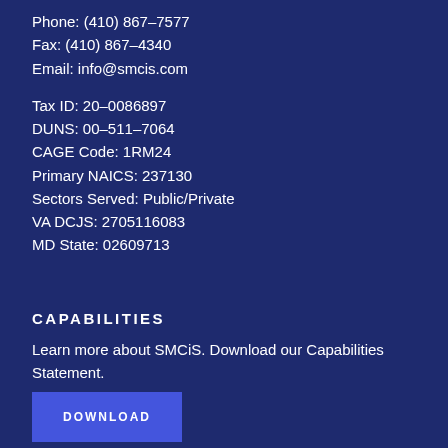Phone: (410) 867-7577
Fax: (410) 867-4340
Email: info@smcis.com

Tax ID: 20-0086897
DUNS: 00-511-7064
CAGE Code: 1RM24
Primary NAICS: 237130
Sectors Served: Public/Private
VA DCJS: 2705116083
MD State: 02609713
CAPABILITIES
Learn more about SMCiS. Download our Capabilities Statement.
DOWNLOAD